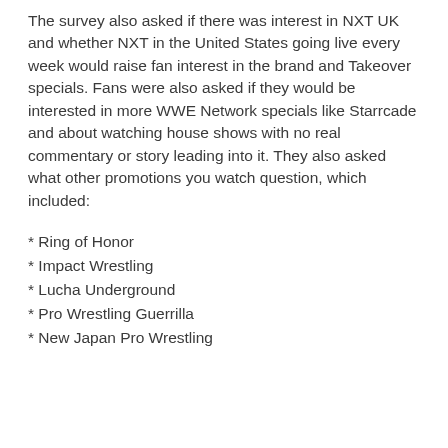The survey also asked if there was interest in NXT UK and whether NXT in the United States going live every week would raise fan interest in the brand and Takeover specials. Fans were also asked if they would be interested in more WWE Network specials like Starrcade and about watching house shows with no real commentary or story leading into it. They also asked what other promotions you watch question, which included:
* Ring of Honor
* Impact Wrestling
* Lucha Underground
* Pro Wrestling Guerrilla
* New Japan Pro Wrestling